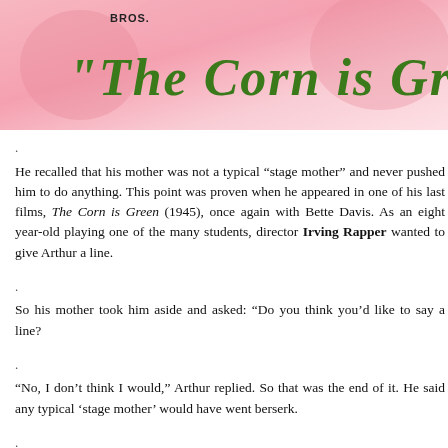[Figure (illustration): Movie banner/poster for Warner Bros. 'The Corn is Green' with pink floral background and green stylized script title text]
He recalled that his mother was not a typical “stage mother” and never pushed him to do anything. This point was proven when he appeared in one of his last films, The Corn is Green (1945), once again with Bette Davis. As an eight year-old playing one of the many students, director Irving Rapper wanted to give Arthur a line.
So his mother took him aside and asked: “Do you think you’d like to say a line?
“No, I don’t think I would,” Arthur replied. So that was the end of it. He said any typical ‘stage mother’ would have went berserk.
Summing up his career Carrington said: “Working as a child in films was a great opportunity if you had the talent. I just wasn’t that interested.”
As a teenager, he sometimes tried to impress his friends with his former fame.